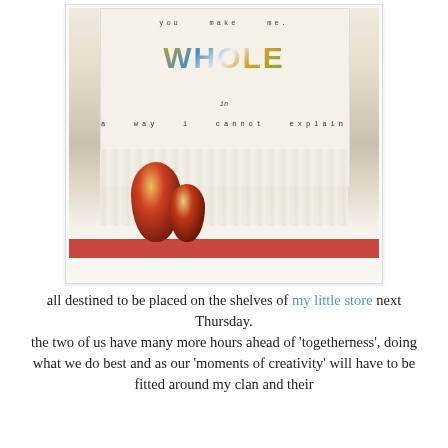[Figure (photo): A fabric wall hanging that reads 'you make me WHOLE in a way i cannot explain' with colorful patchwork letters, a knitted/macrame fringe at the bottom, and two Russian matryoshka nesting dolls sitting on a red shelf below.]
all destined to be placed on the shelves of my little store next Thursday. the two of us have many more hours ahead of 'togetherness', doing what we do best and as our 'moments of creativity' will have to be fitted around my clan and their